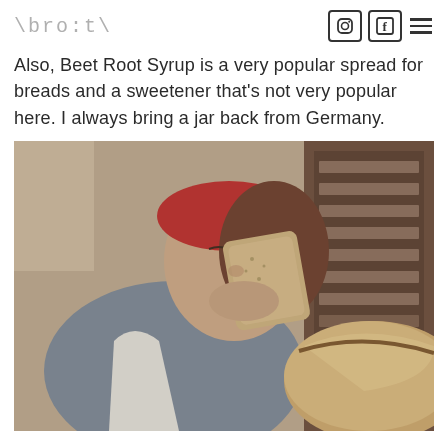\bro:t\
Also, Beet Root Syrup is a very popular spread for breads and a sweetener that's not very popular here. I always bring a jar back from Germany.
[Figure (photo): A woman wearing a red bandana headband and white apron, eyes closed, taking a bite of a slice of bread. She is holding a large loaf of bread. The setting appears to be a kitchen or bakery interior.]